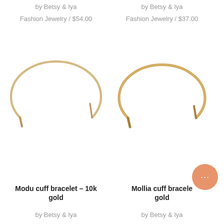by Betsy & Iya
Fashion Jewelry / $54.00
by Betsy & Iya
Fashion Jewelry / $37.00
[Figure (photo): Gold cuff bracelet (Modu) on white background, left product]
[Figure (photo): Gold cuff bracelet (Mollia) on white background, right product]
Modu cuff bracelet – 10k gold
by Betsy & Iya
Mollia cuff bracele gold
by Betsy & Iya